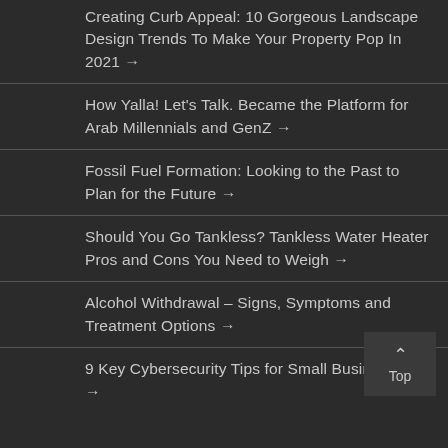Creating Curb Appeal: 10 Gorgeous Landscape Design Trends To Make Your Property Pop In 2021 →
How Yalla! Let's Talk. Became the Platform for Arab Millennials and GenZ →
Fossil Fuel Formation: Looking to the Past to Plan for the Future →
Should You Go Tankless? Tankless Water Heater Pros and Cons You Need to Weigh →
Alcohol Withdrawal – Signs, Symptoms and Treatment Options →
9 Key Cybersecurity Tips for Small Businesses →